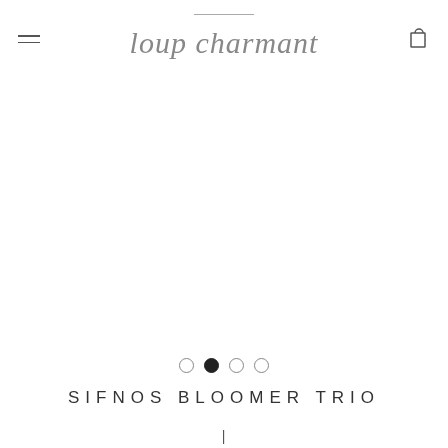loup charmant
[Figure (other): Product image area — white/blank product photo carousel for Sifnos Bloomer Trio]
Carousel pagination dots — 4 dots, second dot active
SIFNOS BLOOMER TRIO